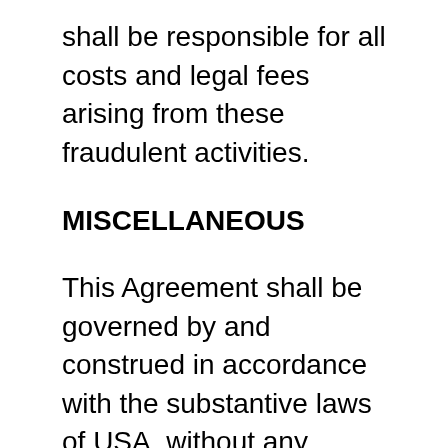shall be responsible for all costs and legal fees arising from these fraudulent activities.
MISCELLANEOUS
This Agreement shall be governed by and construed in accordance with the substantive laws of USA, without any reference to conflict-of-laws principles. Any dispute, controversy or difference which may arise between the parties out of, in relation to or in connection with this Agreement is hereby